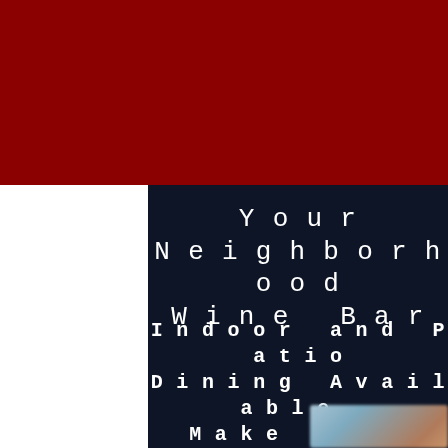Your Neighborhood Wine Bar
Indoor and Patio Dining Available. Make Your Reservation Today!
[Figure (photo): Blurred photo of tableware or floral pattern in blue and brown tones at the bottom of the page]